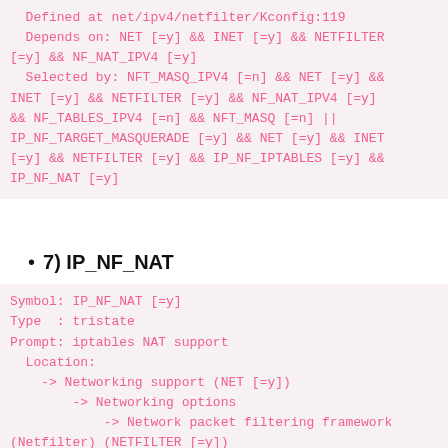Defined at net/ipv4/netfilter/Kconfig:119
  Depends on: NET [=y] && INET [=y] && NETFILTER [=y] && NF_NAT_IPV4 [=y]
  Selected by: NFT_MASQ_IPV4 [=n] && NET [=y] && INET [=y] && NETFILTER [=y] && NF_NAT_IPV4 [=y] && NF_TABLES_IPV4 [=n] && NFT_MASQ [=n] || IP_NF_TARGET_MASQUERADE [=y] && NET [=y] && INET [=y] && NETFILTER [=y] && IP_NF_IPTABLES [=y] && IP_NF_NAT [=y]
7) IP_NF_NAT
Symbol: IP_NF_NAT [=y]
Type  : tristate
Prompt: iptables NAT support
  Location:
    -> Networking support (NET [=y])
      -> Networking options
        -> Network packet filtering framework (Netfilter) (NETFILTER [=y])